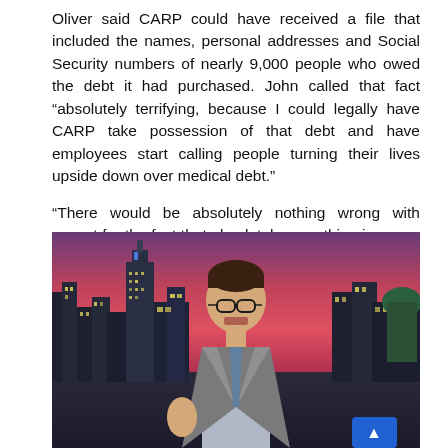Oliver said CARP could have received a file that included the names, personal addresses and Social Security numbers of nearly 9,000 people who owed the debt it had purchased. John called that fact “absolutely terrifying, because I could legally have CARP take possession of that debt and have employees start calling people turning their lives upside down over medical debt.”
“There would be absolutely nothing wrong with except for the fact that absolutely everything is wrong with that,” Oliver continued. “We need much clearer rules and oversight.”
[Figure (photo): A man in a suit and tie with glasses standing in front of a city skyline backdrop with a purple/red sky, from what appears to be a late night TV show set.]